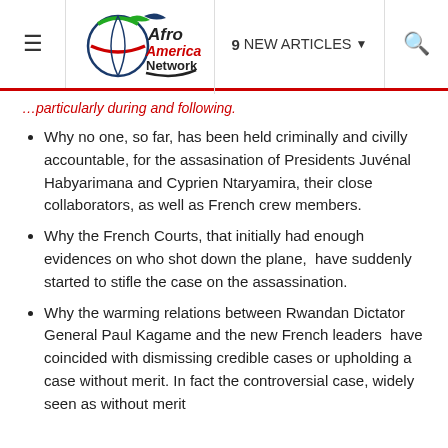≡  Afro America Network  9 NEW ARTICLES ▾  🔍
...particularly during and following.
Why no one, so far, has been held criminally and civilly accountable, for the assasination of Presidents Juvénal Habyarimana and Cyprien Ntaryamira, their close collaborators, as well as French crew members.
Why the French Courts, that initially had enough evidences on who shot down the plane,  have suddenly started to stifle the case on the assassination.
Why the warming relations between Rwandan Dictator General Paul Kagame and the new French leaders  have coincided with dismissing credible cases or upholding a case without merit. In fact the controversial case, widely seen as without merit